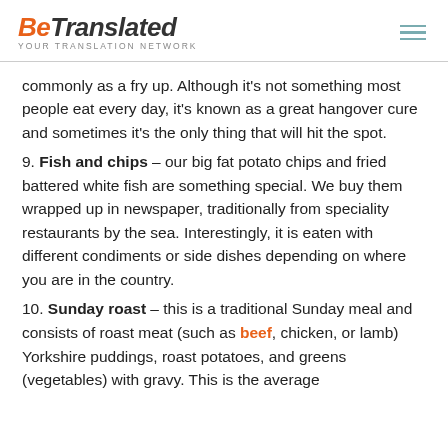BeTranslated YOUR TRANSLATION NETWORK
commonly as a fry up. Although it's not something most people eat every day, it's known as a great hangover cure and sometimes it's the only thing that will hit the spot.
9. Fish and chips – our big fat potato chips and fried battered white fish are something special. We buy them wrapped up in newspaper, traditionally from speciality restaurants by the sea. Interestingly, it is eaten with different condiments or side dishes depending on where you are in the country.
10. Sunday roast – this is a traditional Sunday meal and consists of roast meat (such as beef, chicken, or lamb) Yorkshire puddings, roast potatoes, and greens (vegetables) with gravy. This is the average